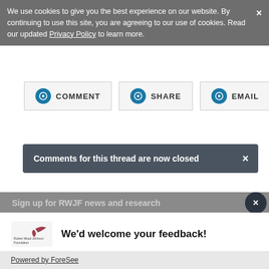We use cookies to give you the best experience on our website. By continuing to use this site, you are agreeing to our use of cookies. Read our updated Privacy Policy to learn more.
COMMENT
SHARE
EMAIL
Comments for this thread are now closed
Sign up for RWJF news and research
We'd welcome your feedback!
Can we send you a brief survey so we can improve your experience on this website?
Text me
Email me
Powered by ForeSee